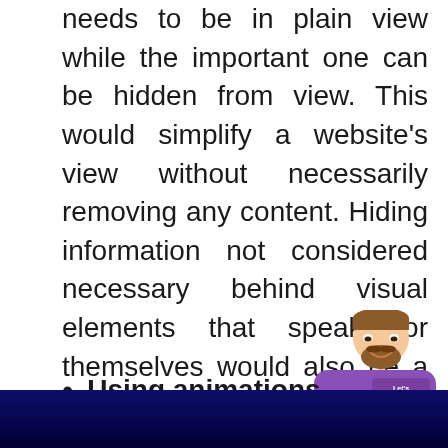needs to be in plain view while the important one can be hidden from view. This would simplify a website's view without necessarily removing any content. Hiding information not considered necessary behind visual elements that speak for themselves would also be a creative way to show content only when the use wishes to see it.
[Figure (illustration): Cartoon avatar of a thoughtful man with hands clasped near face, next to a purple chat bubble with white dots and 'Let's Connect' text, and 'Dr Prem' branding below]
Using animations
[Figure (photo): Dark blue/navy background image at the bottom of the page, partially cropped]